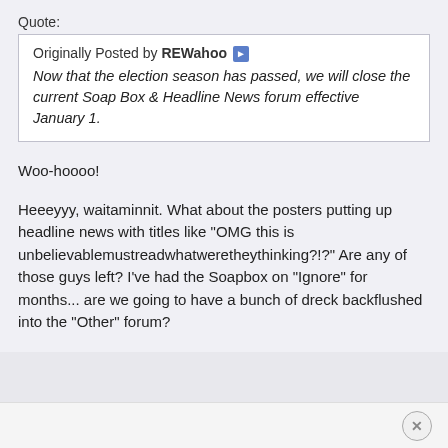Quote:
Originally Posted by REWahoo ▶
Now that the election season has passed, we will close the current Soap Box & Headline News forum effective January 1.
Woo-hoooo!
Heeeyyy, waitaminnit. What about the posters putting up headline news with titles like "OMG this is unbelievablemustreadwhatweretheythinking?!?" Are any of those guys left? I've had the Soapbox on "Ignore" for months... are we going to have a bunch of dreck backflushed into the "Other" forum?